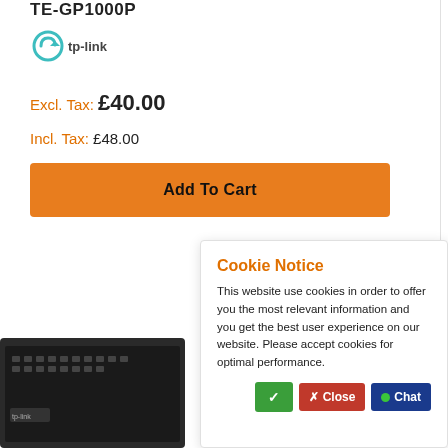TE‑GP1000P
[Figure (logo): TP-Link logo with teal/green arrow icon and 'tp-link' text]
Excl. Tax: £40.00
Incl. Tax: £48.00
Add To Cart
[Figure (photo): Dark rack-mount network switch hardware photo]
Cookie Notice
This website use cookies in order to offer you the most relevant information and you get the best user experience on our website. Please accept cookies for optimal performance.
✓  ✗ Close  M • Chat